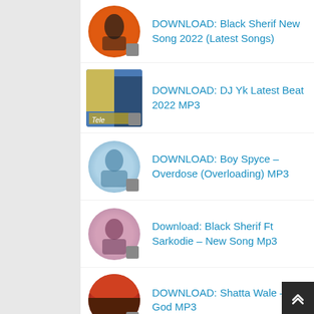DOWNLOAD: Black Sherif New Song 2022 (Latest Songs)
DOWNLOAD: DJ Yk Latest Beat 2022 MP3
DOWNLOAD: Boy Spyce – Overdose (Overloading) MP3
Download: Black Sherif Ft Sarkodie – New Song Mp3
DOWNLOAD: Shatta Wale – On God MP3